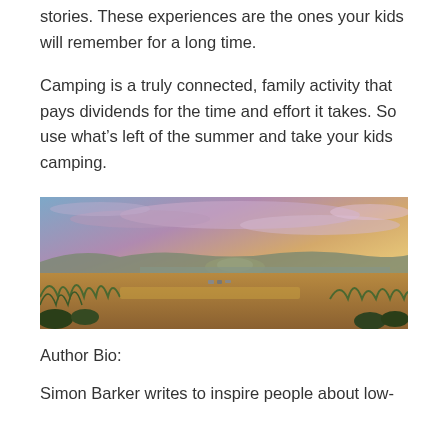stories. These experiences are the ones your kids will remember for a long time.
Camping is a truly connected, family activity that pays dividends for the time and effort it takes. So use what’s left of the summer and take your kids camping.
[Figure (photo): Panoramic landscape photo showing a wide open field with dry grasses, low shrubs, a distant lake or river, rolling hills, and a dramatic sunset sky with pink and purple clouds.]
Author Bio:
Simon Barker writes to inspire people about low-